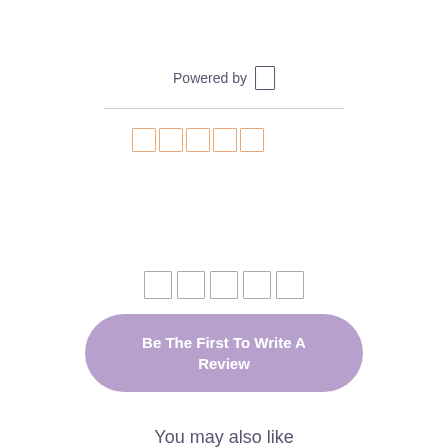Powered by []
[Figure (other): Five empty orange star rating boxes in a row]
[Figure (other): Five empty gray star rating boxes in a row]
Be The First To Write A Review
You may also like